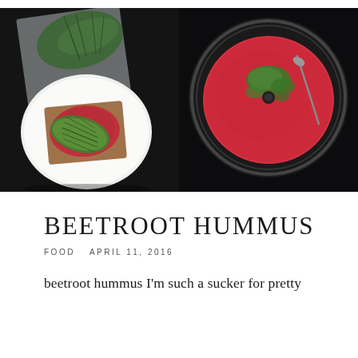[Figure (photo): Overhead photo on dark background: a white plate with toast topped with red beetroot hummus and sliced avocado, with fresh dill beside it]
[Figure (photo): Overhead photo on dark background: a food processor bowl filled with vibrant red beetroot hummus, garnished with chopped green herbs and a spoon]
BEETROOT HUMMUS
FOOD   APRIL 11, 2016
beetroot hummus I'm such a sucker for pretty